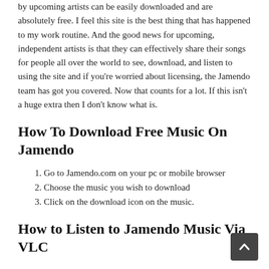by upcoming artists can be easily downloaded and are absolutely free. I feel this site is the best thing that has happened to my work routine. And the good news for upcoming, independent artists is that they can effectively share their songs for people all over the world to see, download, and listen to using the site and if you're worried about licensing, the Jamendo team has got you covered. Now that counts for a lot. If this isn't a huge extra then I don't know what is.
How To Download Free Music On Jamendo
1. Go to Jamendo.com on your pc or mobile browser
2. Choose the music you wish to download
3. Click on the download icon on the music.
How to Listen to Jamendo Music Via VLC